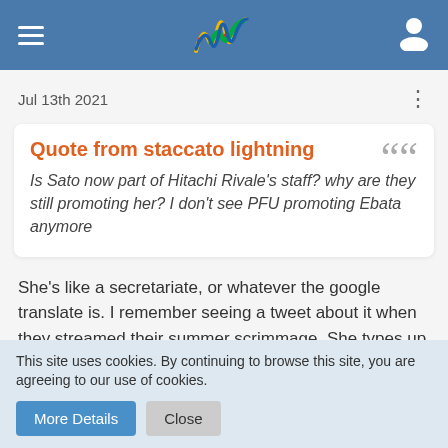[Figure (logo): Website header with hamburger menu icon on the left, a colorful wavy 'W' logo in the center, and a user/profile icon on the right, all on a blue background]
Jul 13th 2021
Quote from staccato lightning
Is Sato now part of Hitachi Rivale's staff? why are they still promoting her? I don't see PFU promoting Ebata anymore
She's like a secretariate, or whatever the google translate is. I remember seeing a tweet about it when they streamed their summer scrimmage. She types up the schedules, or something. She's pretty ingrained in Hitachi
Ebata/Hitachi/PFU was before my time so I have no compare
This site uses cookies. By continuing to browse this site, you are agreeing to our use of cookies.